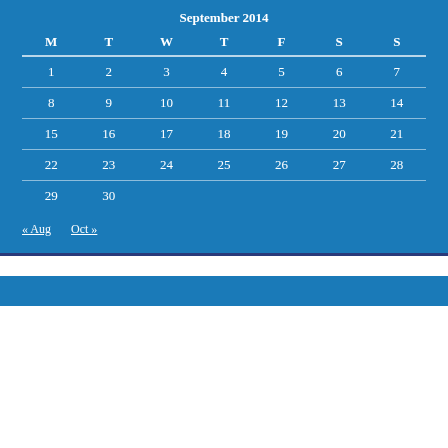September 2014
| M | T | W | T | F | S | S |
| --- | --- | --- | --- | --- | --- | --- |
| 1 | 2 | 3 | 4 | 5 | 6 | 7 |
| 8 | 9 | 10 | 11 | 12 | 13 | 14 |
| 15 | 16 | 17 | 18 | 19 | 20 | 21 |
| 22 | 23 | 24 | 25 | 26 | 27 | 28 |
| 29 | 30 |  |  |  |  |  |
« Aug   Oct »